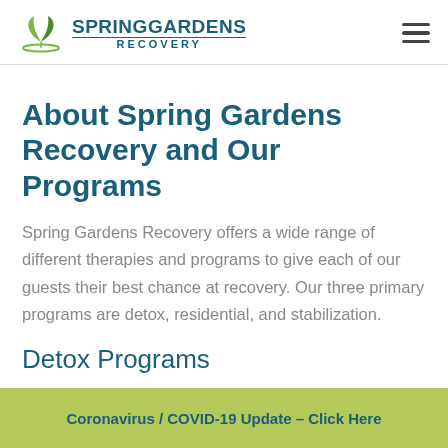Spring Gardens Recovery
About Spring Gardens Recovery and Our Programs
Spring Gardens Recovery offers a wide range of different therapies and programs to give each of our guests their best chance at recovery. Our three primary programs are detox, residential, and stabilization.
Detox Programs
Coronavirus / COVID-19 Update – Click Here